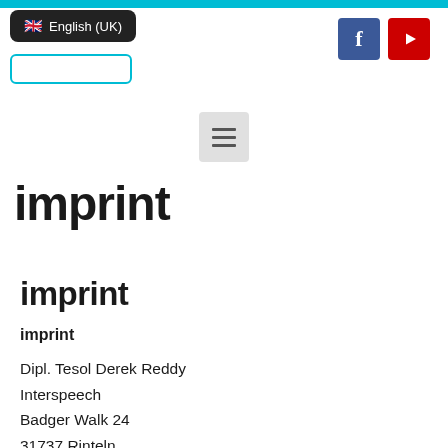English (UK) — language selector with UK flag, search box, Facebook and YouTube social icons, hamburger menu
imprint
imprint
imprint
Dipl. Tesol Derek Reddy
Interspeech
Badger Walk 24
31737 Rinteln